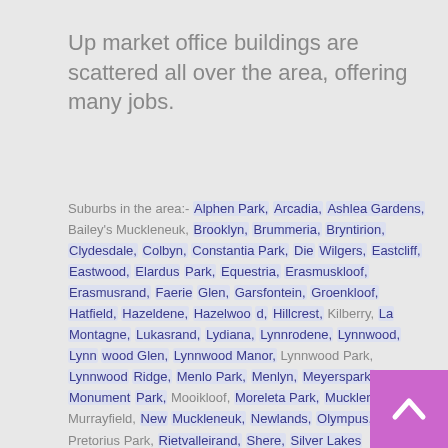Up market office buildings are scattered all over the area, offering many jobs.
Suburbs in the area:- Alphen Park, Arcadia, Ashlea Gardens, Bailey's Muckleneuk, Brooklyn, Brummeria, Bryntirion, Clydesdale, Colbyn, Constantia Park, Die Wilgers, Eastcliff, Eastwood, Elardus Park, Equestria, Erasmuskloof, Erasmusrand, Faerie Glen, Garsfontein, Groenkloof, Hatfield, Hazeldene, Hazelwood, Hillcrest, Kilberry, La Montagne, Lukasrand, Lydiana, Lynnrodene, Lynnwood, Lynnwood Glen, Lynnwood Manor, Lynnwood Park, Lynnwood Ridge, Menlo Park, Menlyn, Meyerspark, Monument Park, Mooikloof, Moreleta Park, Muckleneuk, Murrayfield, New Muckleneuk, Newlands, Olympus, Pretorius Park, Rietvalleirand, Shere, Silver Lakes